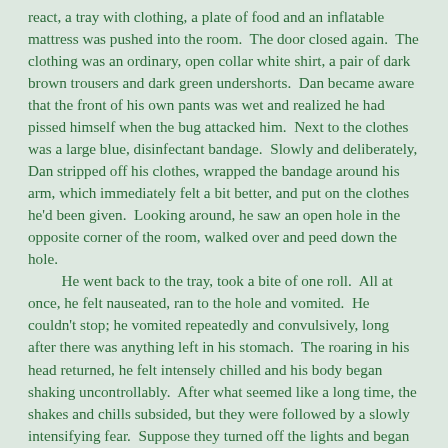react, a tray with clothing, a plate of food and an inflatable mattress was pushed into the room. The door closed again. The clothing was an ordinary, open collar white shirt, a pair of dark brown trousers and dark green undershorts. Dan became aware that the front of his own pants was wet and realized he had pissed himself when the bug attacked him. Next to the clothes was a large blue, disinfectant bandage. Slowly and deliberately, Dan stripped off his clothes, wrapped the bandage around his arm, which immediately felt a bit better, and put on the clothes he'd been given. Looking around, he saw an open hole in the opposite corner of the room, walked over and peed down the hole.
	He went back to the tray, took a bite of one roll. All at once, he felt nauseated, ran to the hole and vomited. He couldn't stop; he vomited repeatedly and convulsively, long after there was anything left in his stomach. The roaring in his head returned, he felt intensely chilled and his body began shaking uncontrollably. After what seemed like a long time, the shakes and chills subsided, but they were followed by a slowly intensifying fear. Suppose they turned off the lights and began to fill the room with water. He could feel himself being forced to the top of the room, feel his head pressed against the ceiling when only a few inches of air remained, feel the water filling his nose and mouth as he gasped